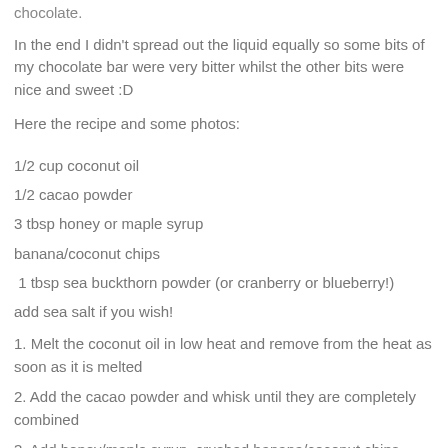chocolate.
In the end I didn't spread out the liquid equally so some bits of my chocolate bar were very bitter whilst the other bits were nice and sweet :D
Here the recipe and some photos:
1/2 cup coconut oil
1/2 cacao powder
3 tbsp honey or maple syrup
banana/coconut chips
1 tbsp sea buckthorn powder (or cranberry or blueberry!)
add sea salt if you wish!
1. Melt the coconut oil in low heat and remove from the heat as soon as it is melted
2. Add the cacao powder and whisk until they are completely combined
3. Add honey/maple syrup, crushed banana/coconut chips,